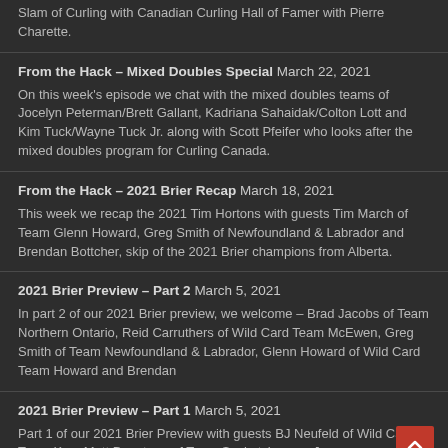Slam of Curling with Canadian Curling Hall of Famer with Pierre Charette.
From the Hack – Mixed Doubles Special March 22, 2021
On this week's episode we chat with the mixed doubles teams of Jocelyn Peterman/Brett Gallant, Kadriana Sahaidak/Colton Lott and Kim Tuck/Wayne Tuck Jr. along with Scott Pfeifer who looks after the mixed doubles program for Curling Canada.
From the Hack – 2021 Brier Recap March 18, 2021
This week we recap the 2021 Tim Hortons with guests Tim March of Team Glenn Howard, Greg Smith of Newfoundland & Labrador and Brendan Bottcher, skip of the 2021 Brier champions from Alberta.
2021 Brier Preview – Part 2 March 5, 2021
In part 2 of our 2021 Brier preview, we welcome – Brad Jacobs of Team Northern Ontario, Reid Carruthers of Wild Card Team McEwen, Greg Smith of Team Newfoundland & Labrador, Glenn Howard of Wild Card Team Howard and Brendan
2021 Brier Preview – Part 1 March 5, 2021
Part 1 of our 2021 Brier Preview with guests BJ Neufeld of Wild Card Team Koe, Matt Dunstone of Team Saskatchewan, James